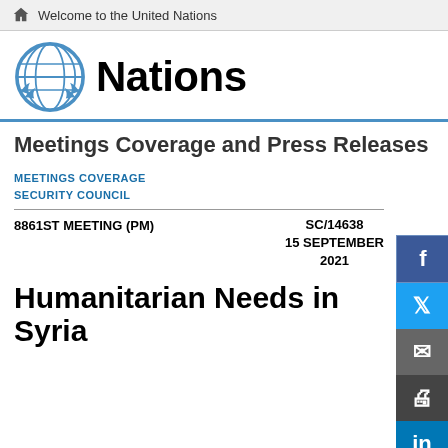Welcome to the United Nations
[Figure (logo): United Nations emblem / globe logo in light blue, with text 'Nations' in bold black to the right]
Meetings Coverage and Press Releases
MEETINGS COVERAGE
SECURITY COUNCIL
8861ST MEETING (PM)    SC/14638
15 SEPTEMBER
2021
Humanitarian Needs in Syria